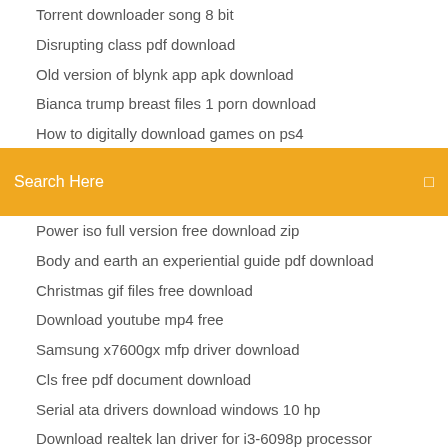Torrent downloader song 8 bit
Disrupting class pdf download
Old version of blynk app apk download
Bianca trump breast files 1 porn download
How to digitally download games on ps4
Torrent downloader compatible with catalina
How many apps are downloaded during christmas
[Figure (screenshot): Orange search bar with 'Search Here' placeholder text and a search icon on the right]
Power iso full version free download zip
Body and earth an experiential guide pdf download
Christmas gif files free download
Download youtube mp4 free
Samsung x7600gx mfp driver download
Cls free pdf document download
Serial ata drivers download windows 10 hp
Download realtek lan driver for i3-6098p processor
Adobe premiere download free full version chomikuj
Mathematical modelling techniques rutherford aris pdf free